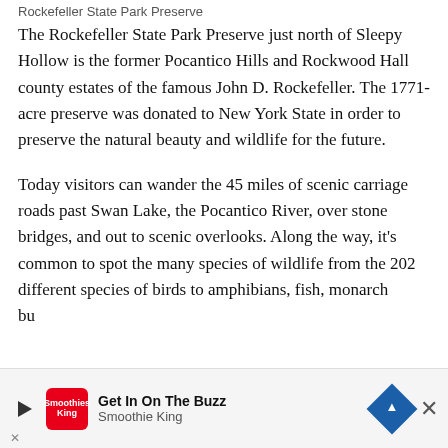Rockefeller State Park Preserve
The Rockefeller State Park Preserve just north of Sleepy Hollow is the former Pocantico Hills and Rockwood Hall county estates of the famous John D. Rockefeller. The 1771-acre preserve was donated to New York State in order to preserve the natural beauty and wildlife for the future.
Today visitors can wander the 45 miles of scenic carriage roads past Swan Lake, the Pocantico River, over stone bridges, and out to scenic overlooks. Along the way, it's common to spot the many species of wildlife from the 202 different species of birds to amphibians, fish, monarch butterflies...